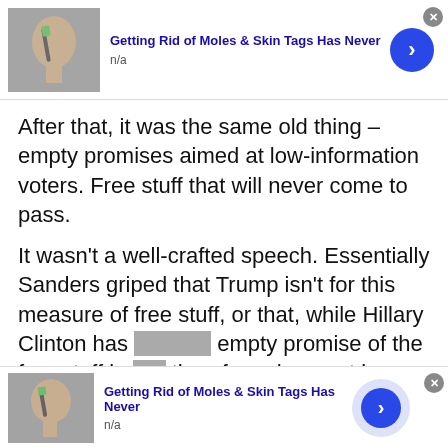[Figure (screenshot): Top advertisement banner: thumbnail image of person with toothbrush near face, ad title 'Getting Rid of Moles & Skin Tags Has Never', label 'n/a', blue circular arrow button, gray close button]
After that, it was the same old thing – empty promises aimed at low-information voters. Free stuff that will never come to pass.
It wasn't a well-crafted speech. Essentially Sanders griped that Trump isn't for this measure of free stuff, or that, while Hillary Clinton has [obscured] his empty promise of the free stuff in [obscured] therefore she must be supported. [obscured] hang his agenda around
[Figure (screenshot): Walgreens Photo popup ad: 'Walgreens Photo / Save on Select Vitamins / Fall Favorites | BOGO Free Select']
[Figure (screenshot): Bottom advertisement banner: thumbnail image of person with toothbrush near face, ad title 'Getting Rid of Moles & Skin Tags Has Never', label 'n/a', blue circular arrow button with halo, gray close button]